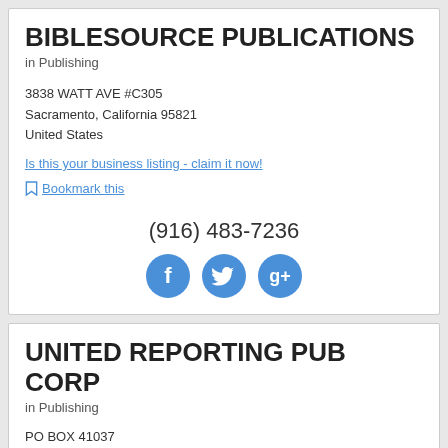BIBLESOURCE PUBLICATIONS
in Publishing
3838 WATT AVE #C305
Sacramento, California 95821
United States
Is this your business listing - claim it now!
Bookmark this
(916) 483-7236
[Figure (other): Social media icon buttons for Facebook, Twitter, and Google+]
UNITED REPORTING PUB CORP
in Publishing
PO BOX 41037